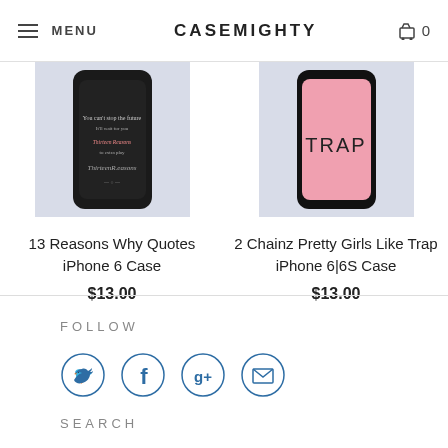MENU | CASEMIGHTY | 0
[Figure (photo): Two phone cases shown from top: left is a black iPhone 6 case with 13 Reasons Why quotes text, right is a pink iPhone 6|6S case with TRAP text]
13 Reasons Why Quotes iPhone 6 Case
$13.00
2 Chainz Pretty Girls Like Trap iPhone 6|6S Case
$13.00
FOLLOW
[Figure (infographic): Four circular social media icons in blue outline: Twitter bird, Facebook f, Google+ g+, Email envelope]
SEARCH